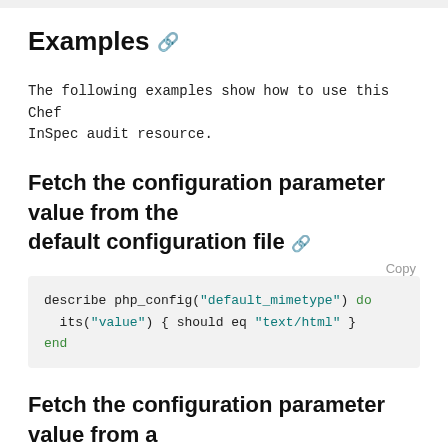Examples
The following examples show how to use this Chef InSpec audit resource.
Fetch the configuration parameter value from the default configuration file
Copy
describe php_config("default_mimetype") do
  its("value") { should eq "text/html" }
end
Fetch the configuration parameter value from a custom configuration file
Copy